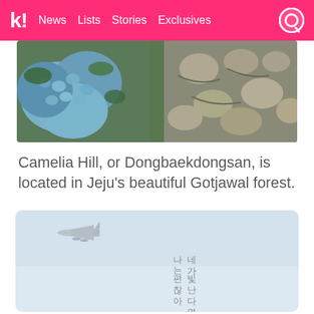k! News Lists Stories Exclusives
[Figure (photo): Close-up photo of blue hydrangea flowers on the left and stone pathway on the right in a garden setting]
Camelia Hill, or Dongbaekdongsan, is located in Jeju's beautiful Gotjawal forest.
[Figure (photo): Light blue-grey sky with a small airplane flying in the upper left, and Korean text arranged vertically in the lower-center reading: 네가 빛난다면 나는 편찮아]